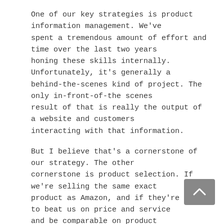One of our key strategies is product information management. We've spent a tremendous amount of effort and time over the last two years honing these skills internally. Unfortunately, it's generally a behind-the-scenes kind of project. The only in-front-of-the scenes result of that is really the output of a website and customers interacting with that information.
But I believe that's a cornerstone of our strategy. The other cornerstone is product selection. If we're selling the same exact product as Amazon, and if they're going to beat us on price and service and be comparable on product information, then we're still going to lose. Probably nine times out of 10. But if we can create a product assortment, develop product awareness, product depth— whether its size, color or make of material—that's different than what's in the wholesale